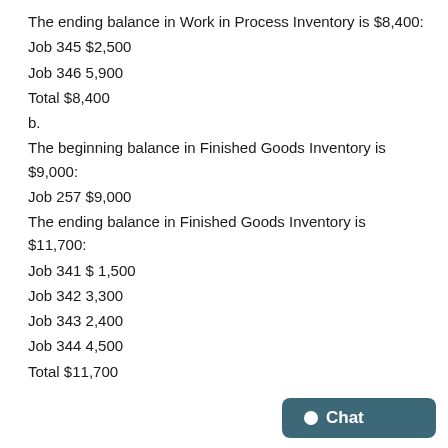The ending balance in Work in Process Inventory is $8,400:
Job 345 $2,500
Job 346 5,900
Total $8,400
b.
The beginning balance in Finished Goods Inventory is $9,000:
Job 257 $9,000
The ending balance in Finished Goods Inventory is $11,700:
Job 341 $ 1,500
Job 342 3,300
Job 343 2,400
Job 344 4,500
Total $11,700